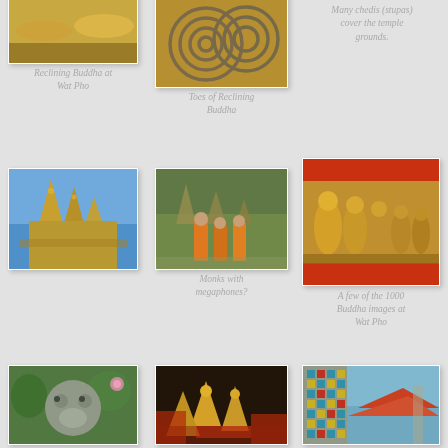[Figure (photo): Reclining Buddha at Wat Pho - golden reclining buddha statue]
Reclining Buddha at Wat Pho
[Figure (photo): Toes of Reclining Buddha - close up of ornate golden toes]
Toes of Reclining Buddha
Many chedis (stupas) cover the temple grounds.
[Figure (photo): Chedis/stupas tower at Wat Pho temple against blue sky]
[Figure (photo): Monks with megaphones walking in orange robes at temple]
Monks with megaphones?
[Figure (photo): A few of the 1000 Buddha images at Wat Pho - golden statues in a row]
A few of the 1000 Buddha images at Wat Pho
[Figure (photo): Stone animal statue head in garden with pink flower]
[Figure (photo): Ornate colorful temple interior with gold Buddha statues]
[Figure (photo): Decorative mosaic column with temple roof in background]